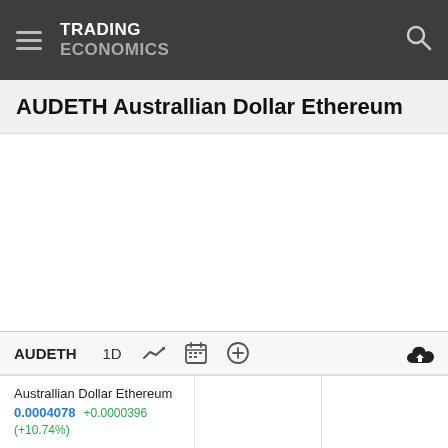TRADING ECONOMICS
AUDETH Australlian Dollar Ethereum
[Figure (other): Empty chart area for AUDETH trading chart]
AUDETH  1D
Australlian Dollar Ethereum
0.0004078  +0.0000396  (+10.74%)